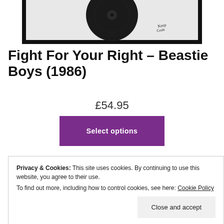[Figure (photo): Framed vinyl record with signature, partially visible at top of page]
Fight For Your Right – Beastie Boys (1986)
£54.95
Select options
Privacy & Cookies: This site uses cookies. By continuing to use this website, you agree to their use.
To find out more, including how to control cookies, see here: Cookie Policy
Close and accept